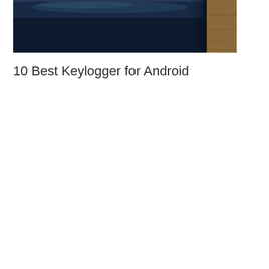[Figure (photo): Close-up photo of a dark navy/black smartphone lying on a wooden surface, showing the top portion of the device with a glossy screen reflecting light]
10 Best Keylogger for Android